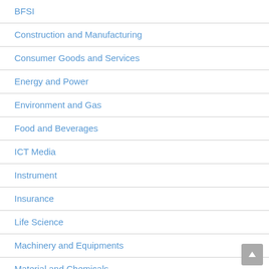BFSI
Construction and Manufacturing
Consumer Goods and Services
Energy and Power
Environment and Gas
Food and Beverages
ICT Media
Instrument
Insurance
Life Science
Machinery and Equipments
Material and Chemicals
Medical Devices